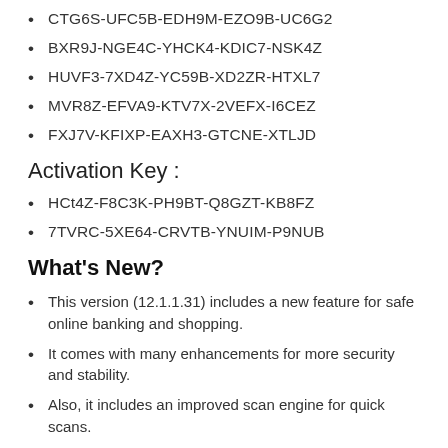CTG6S-UFC5B-EDH9M-EZO9B-UC6G2
BXR9J-NGE4C-YHCK4-KDIC7-NSK4Z
HUVF3-7XD4Z-YC59B-XD2ZR-HTXL7
MVR8Z-EFVA9-KTV7X-2VEFX-I6CEZ
FXJ7V-KFIXP-EAXH3-GTCNE-XTLJD
Activation Key :
HCt4Z-F8C3K-PH9BT-Q8GZT-KB8FZ
7TVRC-5XE64-CRVTB-YNUIM-P9NUB
What's New?
This version (12.1.1.31) includes a new feature for safe online banking and shopping.
It comes with many enhancements for more security and stability.
Also, it includes an improved scan engine for quick scans.